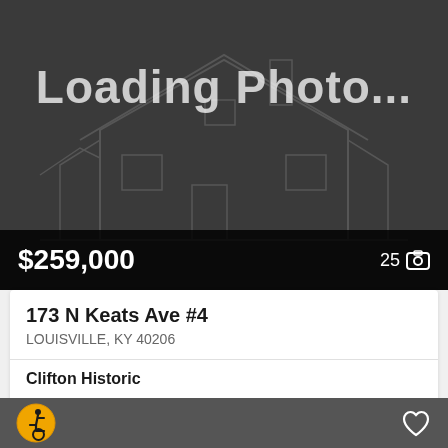[Figure (photo): Loading Photo placeholder with house wireframe illustration on dark gray background]
$259,000
25 📷
173 N Keats Ave #4
LOUISVILLE, KY 40206
Clifton Historic
2 Beds
2 Baths
1,273 Sq.Ft.
Lenihan Sotheby's International Realty